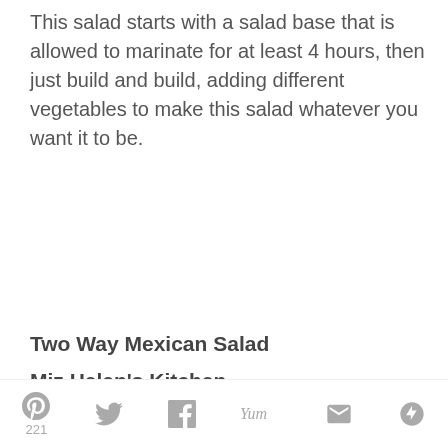This salad starts with a salad base that is allowed to marinate for at least 4 hours, then just build and build, adding different vegetables to make this salad whatever you want it to be.
Two Way Mexican Salad
Miz Helen's Kitchen
Ingredients
Salad Base
4 cups Roma tomatoes, chopped small
1bunch green onions with tops, chopped
1 jalapeno pepper, seeded and chopped
221